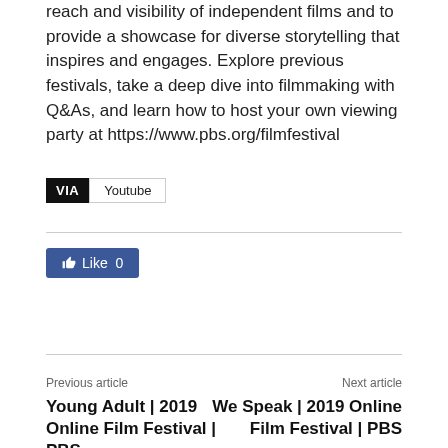reach and visibility of independent films and to provide a showcase for diverse storytelling that inspires and engages. Explore previous festivals, take a deep dive into filmmaking with Q&As, and learn how to host your own viewing party at https://www.pbs.org/filmfestival
VIA  Youtube
[Figure (screenshot): Facebook Like button showing Like 0]
Previous article
Young Adult | 2019 Online Film Festival | PBS
Next article
We Speak | 2019 Online Film Festival | PBS